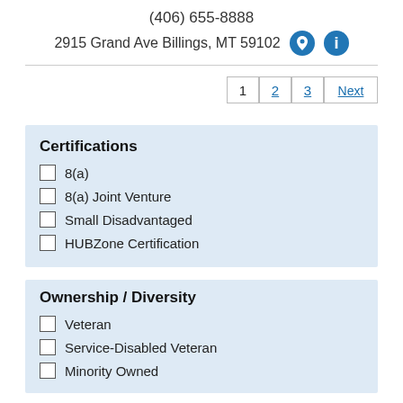(406) 655-8888
2915 Grand Ave Billings, MT 59102
Certifications
8(a)
8(a) Joint Venture
Small Disadvantaged
HUBZone Certification
Ownership / Diversity
Veteran
Service-Disabled Veteran
Minority Owned